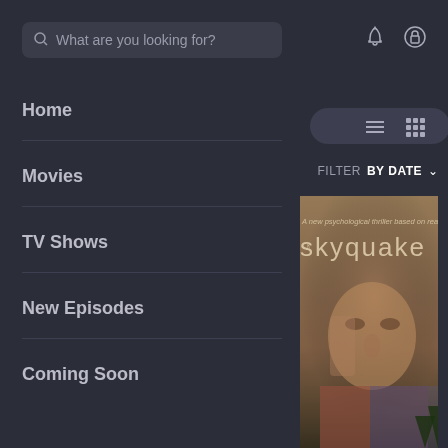What are you looking for?
Home
Movies
TV Shows
New Episodes
Coming Soon
FILTER  BY DATE
[Figure (photo): Movie poster for 'skyquake' — a psychological thriller based on real life events. Shows a distressed man's face with text overlay saying 'A new psychological thriller based on real life events' and the title 'skyquake' in large letters.]